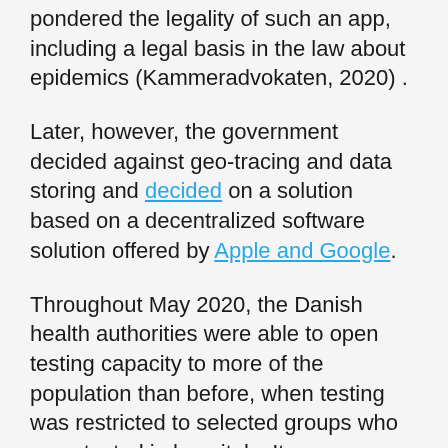pondered the legality of such an app, including a legal basis in the law about epidemics (Kammeradvokaten, 2020) .
Later, however, the government decided against geo-tracing and data storing and decided on a solution based on a decentralized software solution offered by Apple and Google.
Throughout May 2020, the Danish health authorities were able to open testing capacity to more of the population than before, when testing was restricted to selected groups who were tested in hospitals. It soon emerged that the authorities would store DNA information of those tested in a national database for up to ten years after the death of the person in question, while hospitals would destroy the